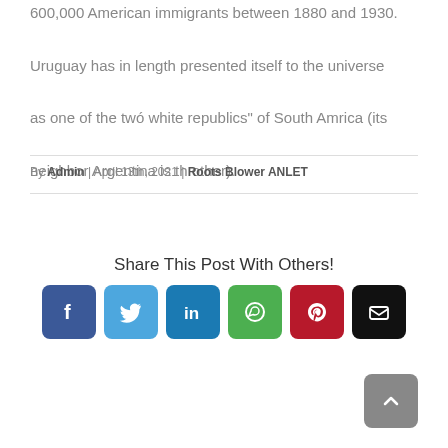600,000 American immigrants between 1880 and 1930. Uruguay has in length presented itself to the universe as one of the twó white republics" of South Amrica (its neighbor Argentina is th other).
By Admin | April 13th, 2021 | Roots Blower ANLET
Share This Post With Others!
[Figure (infographic): Six social share buttons: Facebook (blue), Twitter (light blue), LinkedIn (dark blue), WhatsApp (green), Pinterest (red), Email (black). Below them, a grey scroll-to-top button with an upward chevron.]